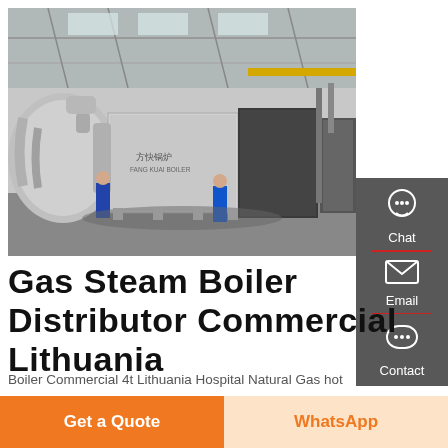[Figure (photo): Industrial gas steam boiler in a large factory/warehouse setting. A large silver metallic boiler unit with Chinese characters on it is visible in the center. Workers can be seen near the equipment. The facility has a high ceiling with steel framework and skylights.]
Gas Steam Boiler Distributor Commercial Lithuania
Boiler Commercial 4t Lithuania Hospital Natural Gas hot Water Vacuum Fire Tube Boiler For. what to look for when
Get a Quote
WhatsApp